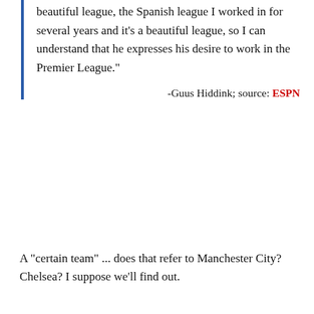beautiful league, the Spanish league I worked in for several years and it's a beautiful league, so I can understand that he expresses his desire to work in the Premier League."
-Guus Hiddink; source: ESPN
A "certain team" ... does that refer to Manchester City?  Chelsea?  I suppose we'll find out.
[Figure (photo): Advertisement image showing two hands clinking red wine glasses over steaks on a cutting board, with a decorative red and gold/yellow tiled background. A wine bottle labeled 'The Federalist' is visible on the right side. An 'AD' badge is shown in the top-left corner.]